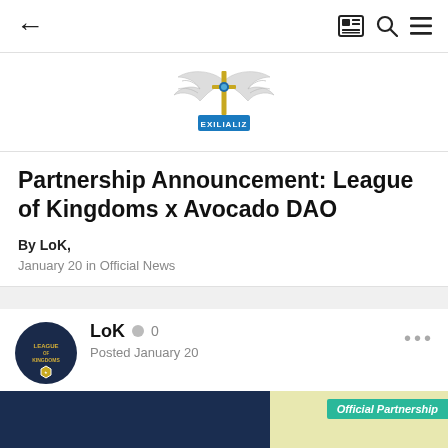← (back) | (newspaper icon) (search icon) (menu icon)
[Figure (logo): Exilializ logo — winged sword emblem with blue banner reading EXILIALIZ]
Partnership Announcement: League of Kingdoms x Avocado DAO
By LoK,
January 20 in Official News
[Figure (logo): League of Kingdoms circular avatar with hexagonal badge]
LoK  ● 0
Posted January 20
[Figure (screenshot): Partial partnership banner image — dark blue background with yellow section and 'Official Partnership' teal label, League of Kingdoms logo visible at bottom]